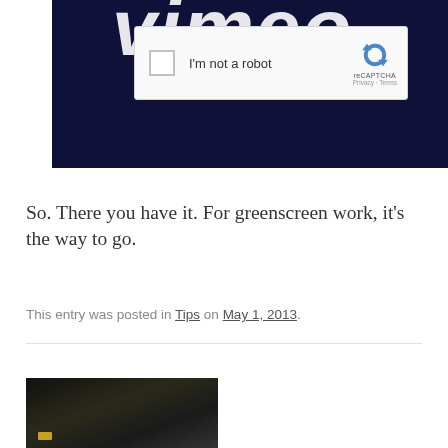[Figure (screenshot): Screenshot showing a dark navy background with the Vimeo logo text partially visible at the top, and a reCAPTCHA widget below with a checkbox labeled 'I'm not a robot' and the reCAPTCHA logo with Privacy and Terms links.]
So. There you have it. For greenscreen work, it's the way to go.
This entry was posted in Tips on May 1, 2013.
[Figure (photo): Partial photo showing what appears to be mechanical or electronic equipment on a dark background, cropped at the bottom of the page.]